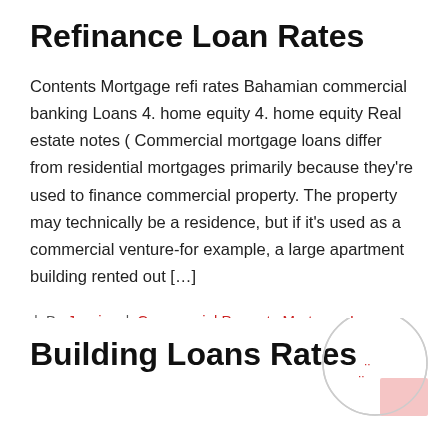Refinance Loan Rates
Contents Mortgage refi rates Bahamian commercial banking Loans 4. home equity 4. home equity Real estate notes ( Commercial mortgage loans differ from residential mortgages primarily because they're used to finance commercial property. The property may technically be a residence, but if it's used as a commercial venture-for example, a large apartment building rented out […]
| By Jessica | Commercial Property Mortgage Loans
Building Loans Rates